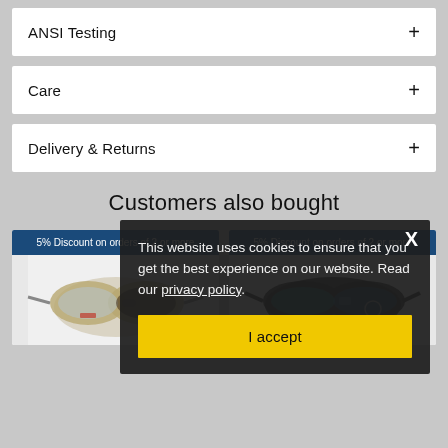ANSI Testing +
Care +
Delivery & Returns +
Customers also bought
5% Discount on orders of 2 or more
5% Discount on orders of 2 or more
This website uses cookies to ensure that you get the best experience on our website. Read our privacy policy.
I accept